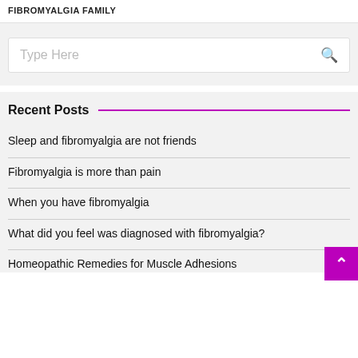FIBROMYALGIA FAMILY
[Figure (other): Search box with placeholder text 'Type Here' and a search icon on the right]
Recent Posts
Sleep and fibromyalgia are not friends
Fibromyalgia is more than pain
When you have fibromyalgia
What did you feel was diagnosed with fibromyalgia?
Homeopathic Remedies for Muscle Adhesions